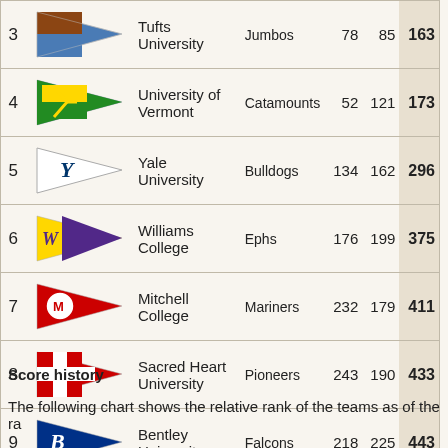| # | Flag | School | Mascot | Score1 | Score2 | Total |
| --- | --- | --- | --- | --- | --- | --- |
| 3 |  | Tufts University | Jumbos | 78 | 85 | 163 |
| 4 |  | University of Vermont | Catamounts | 52 | 121 | 173 |
| 5 |  | Yale University | Bulldogs | 134 | 162 | 296 |
| 6 |  | Williams College | Ephs | 176 | 199 | 375 |
| 7 |  | Mitchell College | Mariners | 232 | 179 | 411 |
| 8 |  | Sacred Heart University | Pioneers | 243 | 190 | 433 |
| 9 |  | Bentley University | Falcons | 218 | 225 | 443 |
Score history
The following chart shows the relative rank of the teams as of the ra